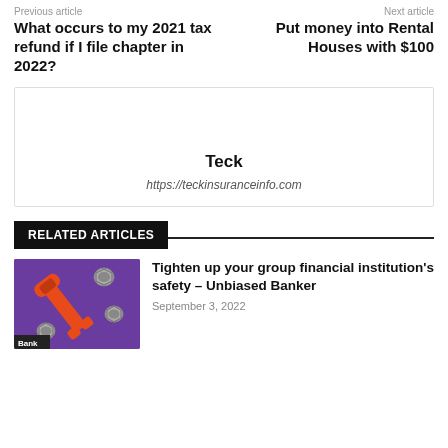Previous article
What occurs to my 2021 tax refund if I file chapter in 2022?
Next article
Put money into Rental Houses with $100
Teck
https://teckinsuranceinfo.com
RELATED ARTICLES
[Figure (photo): Wrench and bolts on purple background with Bank label]
Tighten up your group financial institution's safety – Unbiased Banker
September 3, 2022